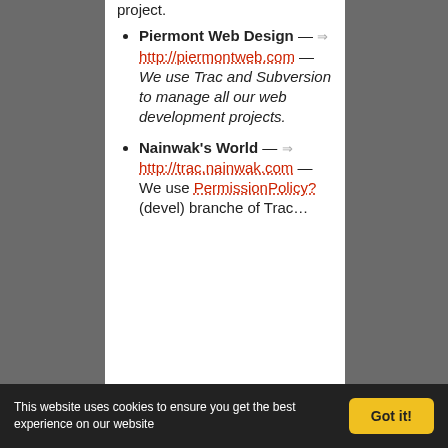project.
Piermont Web Design — http://piermontweb.com — We use Trac and Subversion to manage all our web development projects.
Nainwak's World — http://trac.nainwak.com — We use PermissionPolicy? (devel) branche of Trac...
This website uses cookies to ensure you get the best experience on our website